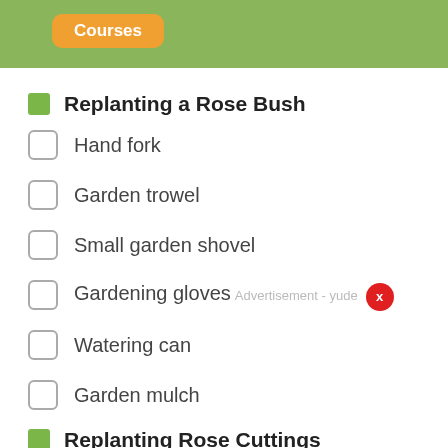Courses
Replanting a Rose Bush
Hand fork
Garden trowel
Small garden shovel
Gardening gloves
Watering can
Garden mulch
Replanting Rose Cuttings
Hand pruners
Growing-hormone powder with synthetic auxin